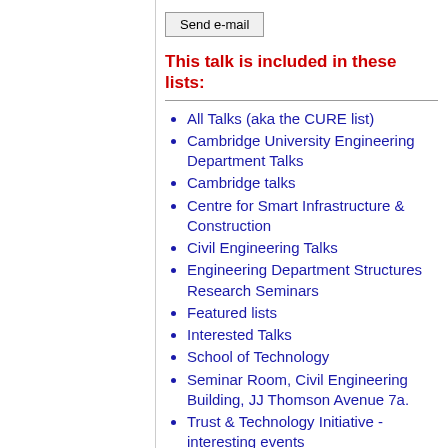Send e-mail
This talk is included in these lists:
All Talks (aka the CURE list)
Cambridge University Engineering Department Talks
Cambridge talks
Centre for Smart Infrastructure & Construction
Civil Engineering Talks
Engineering Department Structures Research Seminars
Featured lists
Interested Talks
School of Technology
Seminar Room, Civil Engineering Building, JJ Thomson Avenue 7a.
Trust & Technology Initiative - interesting events
bld31